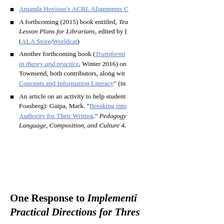Amanda Hovious's ACRL Alignments C...
A forthcoming (2015) book entitled, Teaching Information Literacy Lesson Plans for Librarians, edited by [editors] (ALA Store/Worldcat)
Another forthcoming book (Transforming... in theory and practice, Winter 2016) on Townsend, both contributors, along with... Concepts and Information Literacy" (in...
An article on an activity to help students... Foasberg): Gaipa, Mark. "Breaking into... Authority for Their Writing." Pedagogy... Language, Composition, and Culture 4.
One Response to Implementing... Practical Directions for Thres...